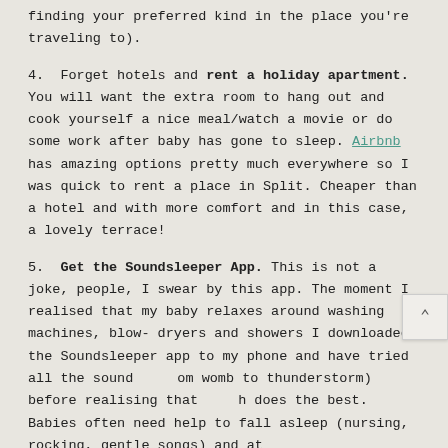finding your preferred kind in the place you're traveling to).
4. Forget hotels and rent a holiday apartment. You will want the extra room to hang out and cook yourself a nice meal/watch a movie or do some work after baby has gone to sleep. Airbnb has amazing options pretty much everywhere so I was quick to rent a place in Split. Cheaper than a hotel and with more comfort and in this case, a lovely terrace!
5. Get the Soundsleeper App. This is not a joke, people, I swear by this app. The moment I realised that my baby relaxes around washing machines, blow-dryers and showers I downloaded the Soundsleeper app to my phone and have tried all the sound (from womb to thunderstorm) before realising that rain does the best. Babies often need help to fall asleep (nursing, rocking, gentle songs) and at